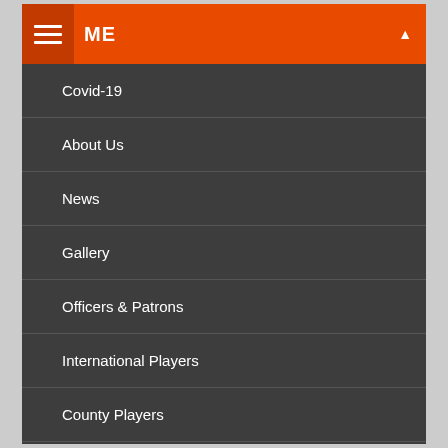ME
Covid-19
About Us
News
Gallery
Officers & Patrons
International Players
County Players
Results & Appearances Last Season
Archives Of County Matches
CONTACTS